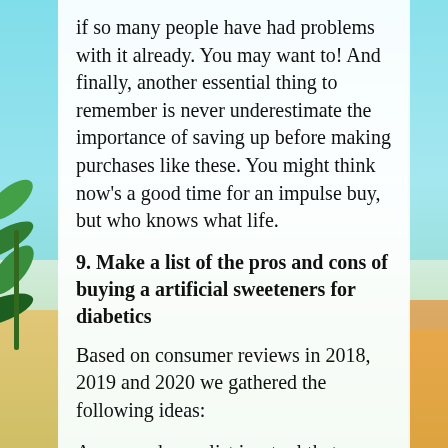if so many people have had problems with it already. You may want to! And finally, another essential thing to remember is never underestimate the importance of saving up before making purchases like these. You might think now's a good time for an impulse buy, but who knows what life.
9. Make a list of the pros and cons of buying a artificial sweeteners for diabetics
Based on consumer reviews in 2018, 2019 and 2020 we gathered the following ideas:
A pros and cons list is a tool that can help you weigh both sides of a decision. It's advantageous when gathering different artificial sweeteners for diabetics, as it may highlight knowledge gaps you need to fill or find better sources on the subject matter.